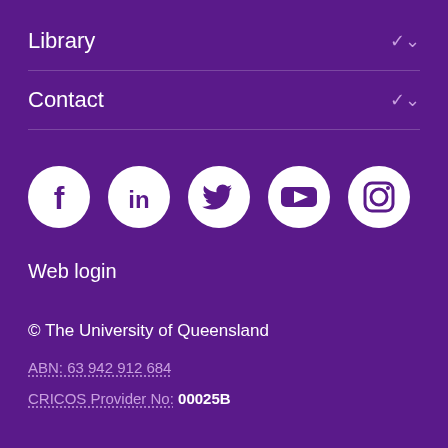Library
Contact
[Figure (illustration): Row of five social media icons (Facebook, LinkedIn, Twitter, YouTube, Instagram) as white circles on purple background]
Web login
© The University of Queensland
ABN: 63 942 912 684
CRICOS Provider No: 00025B